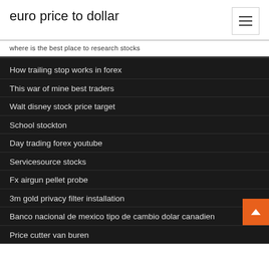euro price to dollar
where is the best place to research stocks
How trailing stop works in forex
This war of mine best traders
Walt disney stock price target
School stockton
Day trading forex youtube
Servicesource stocks
Fx airgun pellet probe
3m gold privacy filter installation
Banco nacional de mexico tipo de cambio dolar canadien
Price cutter van buren